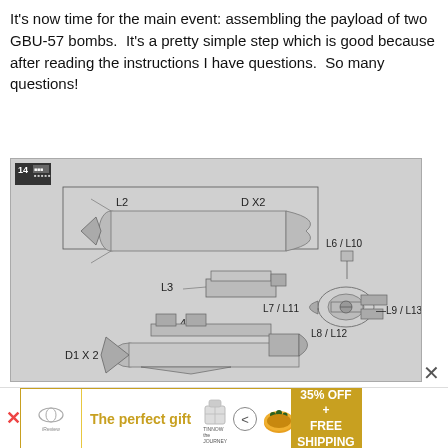It's now time for the main event: assembling the payload of two GBU-57 bombs. It's a pretty simple step which is good because after reading the instructions I have questions. So many questions!
[Figure (illustration): Assembly instruction diagram showing GBU-57 bomb components labeled L2, L3, L4, D X2, D1 X 2, L6/L10, L7/L11, L8/L12, L9/L13 with step number 14 in top left corner]
The perfect gift
35% OFF + FREE SHIPPING